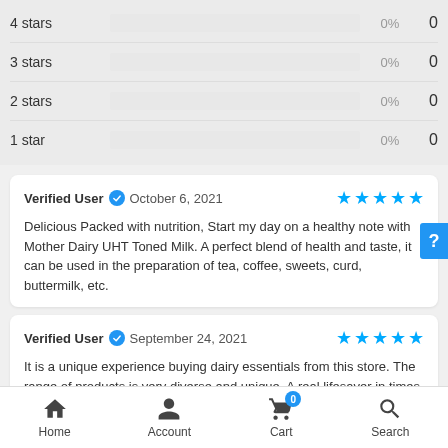| Rating | Percentage | Count |
| --- | --- | --- |
| 4 stars | 0% | 0 |
| 3 stars | 0% | 0 |
| 2 stars | 0% | 0 |
| 1 star | 0% | 0 |
Verified User · October 6, 2021 ★★★★★
Delicious Packed with nutrition, Start my day on a healthy note with Mother Dairy UHT Toned Milk. A perfect blend of health and taste, it can be used in the preparation of tea, coffee, sweets, curd, buttermilk, etc.
Verified User · September 24, 2021 ★★★★★
It is a unique experience buying dairy essentials from this store. The range of products is very diverse and unique. A real lifesaver in times
Home  Account  Cart (0)  Search